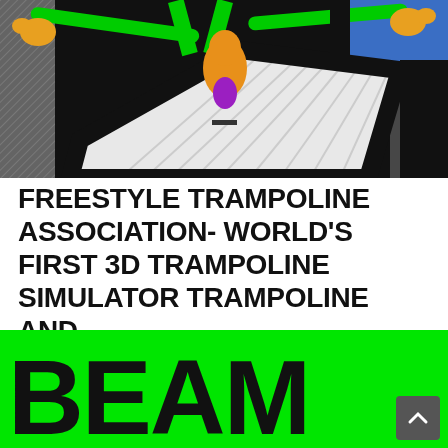[Figure (screenshot): 3D trampoline simulator screenshot showing a green cartoon character on a white trampoline mat with black borders, blue background]
FREESTYLE TRAMPOLINE ASSOCIATION- WORLD'S FIRST 3D TRAMPOLINE SIMULATOR TRAMPOLINE AND...
[Figure (logo): Green banner with large bold black letters 'BEAM' and social media sharing icons overlay (Facebook, Twitter, Email, LinkedIn, WhatsApp, Messenger, Plus) and a scroll-to-top button]